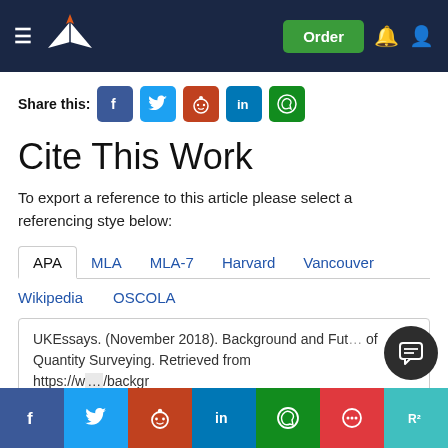UKEssays header with logo and Order button
Share this:
Cite This Work
To export a reference to this article please select a referencing stye below:
APA  MLA  MLA-7  Harvard  Vancouver
Wikipedia  OSCOLA
UKEssays. (November 2018). Background and Future of Quantity Surveying. Retrieved from https://w...essays.com/essays/construction/background-to-quantity-surveying...